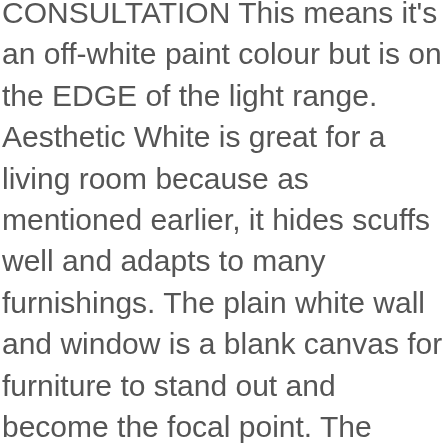CONSULTATION This means it's an off-white paint colour but is on the EDGE of the light range. Aesthetic White is great for a living room because as mentioned earlier, it hides scuffs well and adapts to many furnishings. The plain white wall and window is a blank canvas for furniture to stand out and become the focal point. The Sims 4 Room Build Black And White Aesthetic Bedroom Youtube. Recent Top. Can be used for almost anything and seen quite a few times across iPhone app icon themes. STALK MY LIFE! All the services you need. Think about the age of those who are likely to be living in the room and think about the primary source of light within the room. Aesthetic White paint in a mudroom. See more of this home here. 99. 9 . In fact, cleaning processes is the most affordable ways to update a bedroom. It dried a pretty shade of off-white. Whaline 6 Pack Abstract Line Art Poster Waterproof Minimalist Wall Art Prints Modern Black White Female Face Aesthetic Art Drawing Paintings for Bedroom Living Room College Dorm,